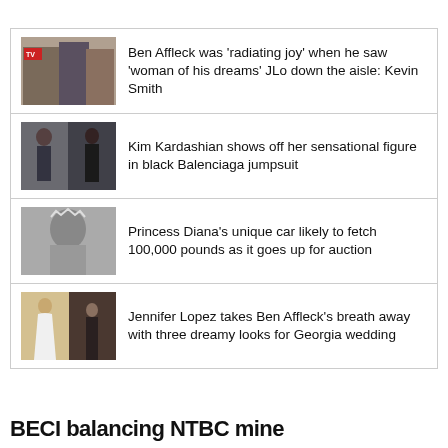Ben Affleck was 'radiating joy' when he saw 'woman of his dreams' JLo down the aisle: Kevin Smith
Kim Kardashian shows off her sensational figure in black Balenciaga jumpsuit
Princess Diana's unique car likely to fetch 100,000 pounds as it goes up for auction
Jennifer Lopez takes Ben Affleck's breath away with three dreamy looks for Georgia wedding
BECI balancing NTBC mine